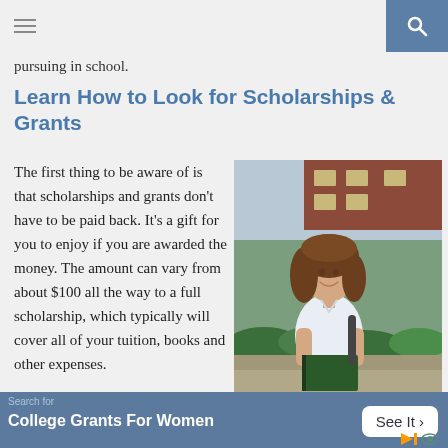pursuing in school.
Learn How to Look for Scholarships & Grants
The first thing to be aware of is that scholarships and grants don't have to be paid back. It's a gift for you to enjoy if you are awarded the money. The amount can vary from about $100 all the way to a full scholarship, which typically will cover all of your tuition, books and other expenses.
[Figure (photo): Young female college student smiling, holding books, wearing a backpack, standing outdoors near a brick building and hedges.]
Search for College Grants For Women See It >